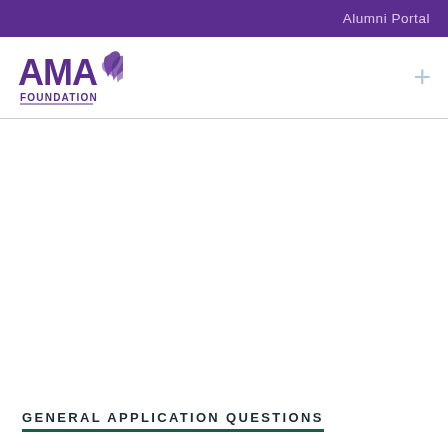Alumni Portal
[Figure (logo): AMA Foundation logo with stylized purple leaf and text 'AMA FOUNDATION']
GENERAL APPLICATION QUESTIONS